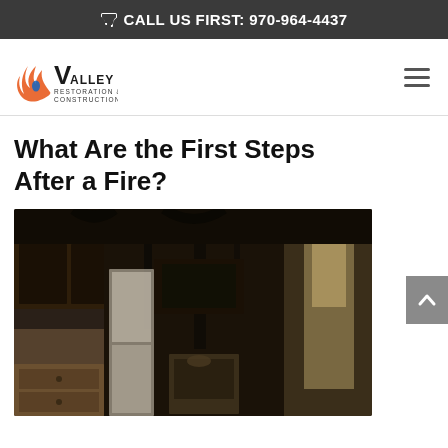CALL US FIRST: 970-964-4437
[Figure (logo): Valley Restoration & Construction logo with flame and water drop graphic]
What Are the First Steps After a Fire?
[Figure (photo): Photo of a fire-damaged kitchen interior with blackened walls, charred cabinets, and burnt appliances]